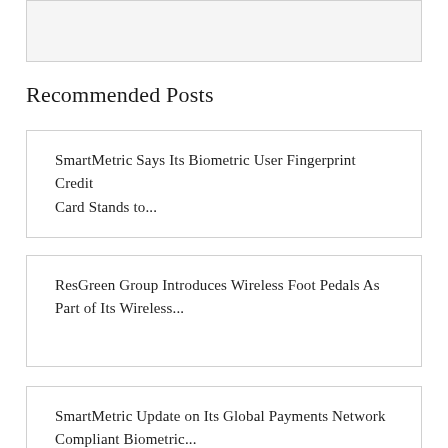[Figure (other): Top decorative/image box, partially visible]
Recommended Posts
SmartMetric Says Its Biometric User Fingerprint Credit Card Stands to...
ResGreen Group Introduces Wireless Foot Pedals As Part of Its Wireless...
SmartMetric Update on Its Global Payments Network Compliant Biometric...